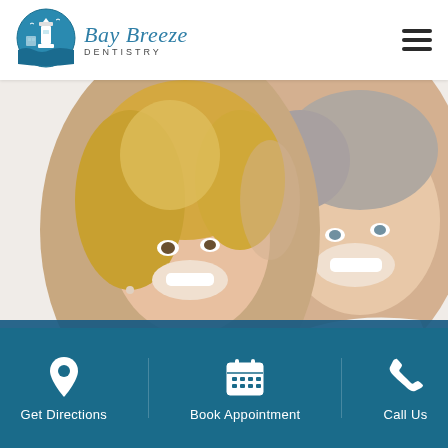[Figure (logo): Bay Breeze Dentistry logo: circular teal badge with lighthouse icon on left, italic script 'Bay Breeze' in teal with 'DENTISTRY' in small caps below]
[Figure (photo): Smiling middle-aged couple, woman with blonde hair on the left leaning on man with gray hair on the right, both showing bright white teeth]
BIOREJUVENATION & TMJ
[Figure (photo): Blurred teal/blue background with partial figures, situated between main hero image and footer]
Get Directions
Book Appointment
Call Us